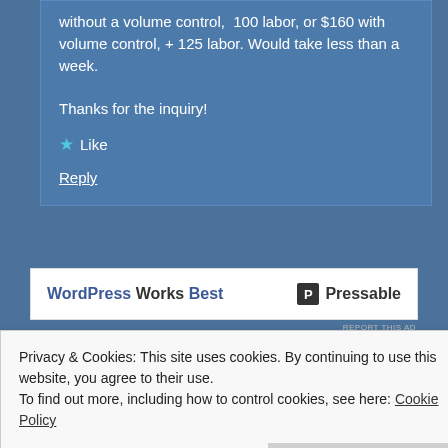without a volume control,  100 labor, or $160 with volume control, + 125 labor. Would take less than a week.

Thanks for the inquiry!
★ Like
Reply
[Figure (other): WordPress Works Best — Pressable advertisement banner]
REPORT THIS AD
Privacy & Cookies: This site uses cookies. By continuing to use this website, you agree to their use.
To find out more, including how to control cookies, see here: Cookie Policy
Close and accept